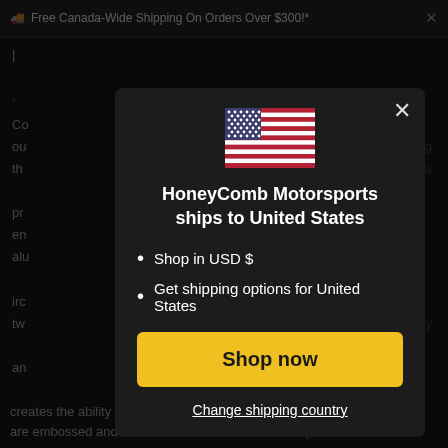🚚 Free Canada-Wide Shipping On Orders Over $300!* ×
Co
ou
th
pr
en
alu
irc
tw
an
[Figure (screenshot): Modal dialog: US flag, title 'HoneyComb Motorsports ships to United States', bullet list, Shop now button, Change shipping country link]
creates the ability to rebound and resist corrosion. The outer layers are embossed and coated on both sides with Viton (a flour